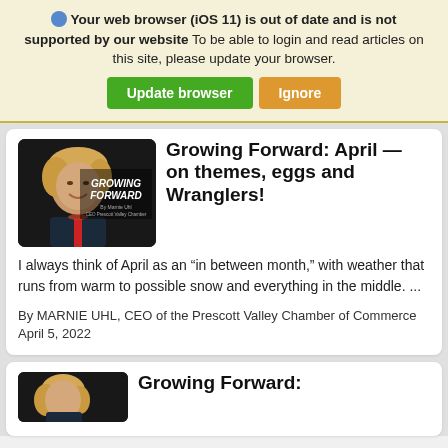Your web browser (iOS 11) is out of date and is not supported by our website To be able to login and read articles on this site, please update your browser. [Update browser] [Ignore]
[Figure (photo): Growing Forward column header image showing a smiling blonde woman with text GROWING FORWARD By Marnie Uhl CEO Prescott Valley Chamber on dark background]
Growing Forward: April — on themes, eggs and Wranglers!
I always think of April as an “in between month,” with weather that runs from warm to possible snow and everything in the middle. ...
By MARNIE UHL, CEO of the Prescott Valley Chamber of Commerce April 5, 2022
[Figure (photo): Growing Forward column header image showing a woman, partially visible at bottom of page]
Growing Forward: